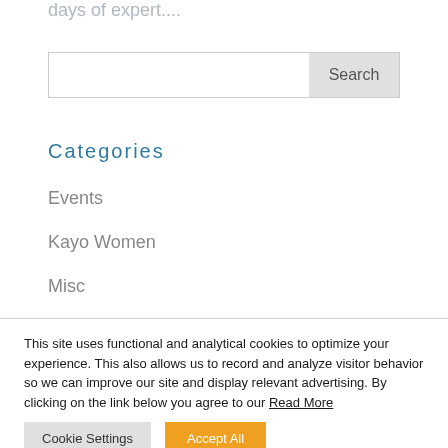days of expert....
Search
Categories
Events
Kayo Women
Misc
This site uses functional and analytical cookies to optimize your experience. This also allows us to record and analyze visitor behavior so we can improve our site and display relevant advertising. By clicking on the link below you agree to our Read More
Cookie Settings
Accept All